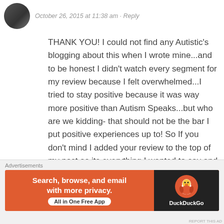[Figure (photo): Circular avatar photo of a person in black and white]
October 26, 2015 at 11:38 am · Reply
THANK YOU! I could not find any Autistic's blogging about this when I wrote mine...and to be honest I didn't watch every segment for my review because I felt overwhelmed...I tried to stay positive because it was way more positive than Autism Speaks...but who are we kidding- that should not be the bar I put positive experiences up to! So If you don't mind I added your review to the top of my post as its everything I wanted to say and couldn't ( though I did cover the birthday
Advertisements
[Figure (screenshot): DuckDuckGo advertisement banner: Search, browse, and email with more privacy. All in One Free App. Shows DuckDuckGo duck logo on dark right panel.]